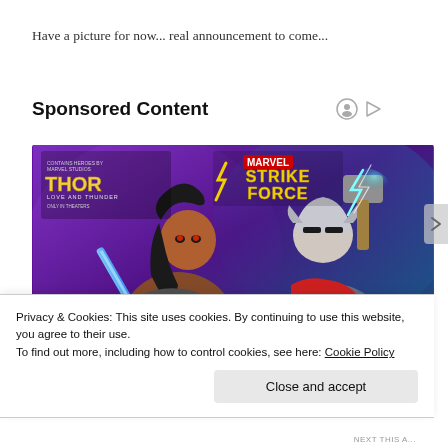Have a picture for now... real announcement to come...
Sponsored Content
[Figure (illustration): Marvel Strike Force promotional image featuring two female superhero characters – one holding a glowing blue sword (Valkyrie), another wearing Thor-like armor and helmet holding a lightning hammer. Thor Love and Thunder movie tie-in branding visible top left, Marvel Strike Force logo center top.]
Privacy & Cookies: This site uses cookies. By continuing to use this website, you agree to their use.
To find out more, including how to control cookies, see here: Cookie Policy
Close and accept